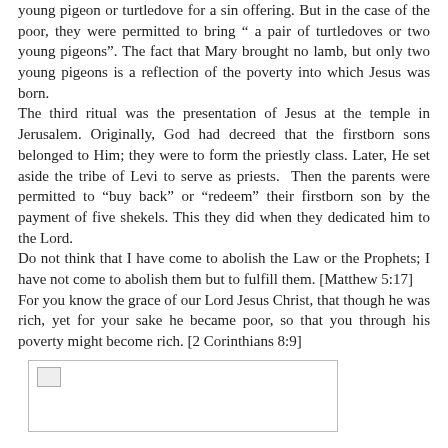young pigeon or turtledove for a sin offering. But in the case of the poor, they were permitted to bring " a pair of turtledoves or two young pigeons". The fact that Mary brought no lamb, but only two young pigeons is a reflection of the poverty into which Jesus was born.
The third ritual was the presentation of Jesus at the temple in Jerusalem. Originally, God had decreed that the firstborn sons belonged to Him; they were to form the priestly class. Later, He set aside the tribe of Levi to serve as priests. Then the parents were permitted to "buy back" or "redeem" their firstborn son by the payment of five shekels. This they did when they dedicated him to the Lord.
Do not think that I have come to abolish the Law or the Prophets; I have not come to abolish them but to fulfill them. [Matthew 5:17]
For you know the grace of our Lord Jesus Christ, that though he was rich, yet for your sake he became poor, so that you through his poverty might become rich. [2 Corinthians 8:9]
[Figure (photo): Broken/missing image placeholder within a bordered box]